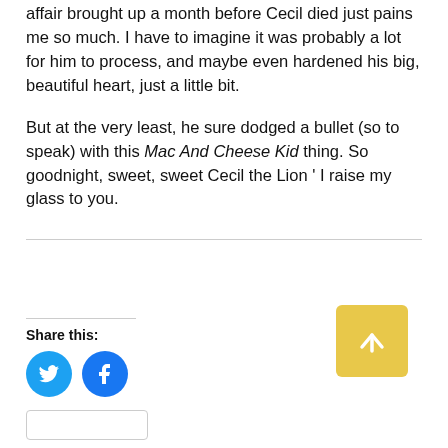affair brought up a month before Cecil died just pains me so much. I have to imagine it was probably a lot for him to process, and maybe even hardened his big, beautiful heart, just a little bit.
But at the very least, he sure dodged a bullet (so to speak) with this Mac And Cheese Kid thing. So goodnight, sweet, sweet Cecil the Lion ‘ I raise my glass to you.
Share this:
[Figure (infographic): Yellow square button with white upward arrow icon (scroll-to-top button)]
[Figure (infographic): Twitter bird icon in blue circle and Facebook 'f' icon in blue circle, social share buttons]